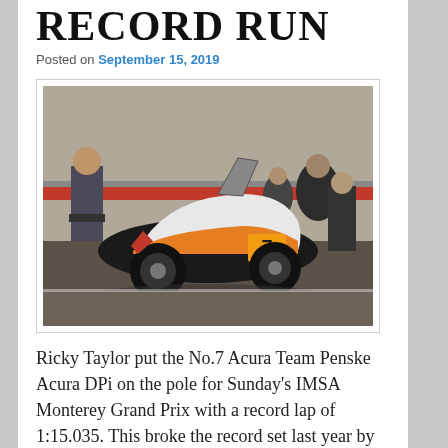RECORD RUN
Posted on September 15, 2019
[Figure (photo): Race car No.7 Acura Team Penske DPi in pit lane with crew members around it, at a racing circuit]
Ricky Taylor put the No.7 Acura Team Penske Acura DPi on the pole for Sunday's IMSA Monterey Grand Prix with a record lap of 1:15.035. This broke the record set last year by his brother, Jordan.Taylor's teammate is Helio Castroneves. The No.6